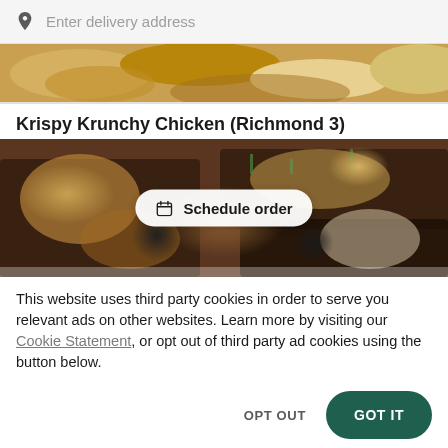Enter delivery address
[Figure (photo): Partial top strip of food items including rice and cheese dishes]
Krispy Krunchy Chicken (Richmond 3)
[Figure (photo): Overhead photo of multiple food takeout containers with various chicken dishes, with a 'Schedule order' button overlaid in center]
This website uses third party cookies in order to serve you relevant ads on other websites. Learn more by visiting our Cookie Statement, or opt out of third party ad cookies using the button below.
OPT OUT
GOT IT